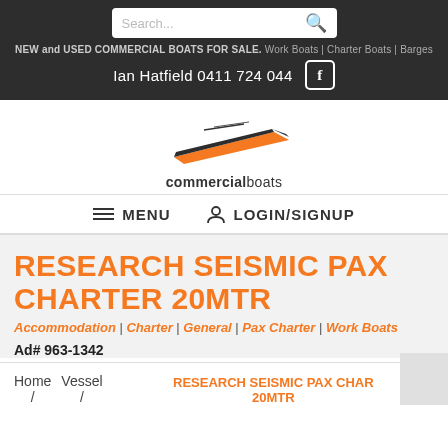NEW and USED COMMERCIAL BOATS FOR SALE. Work Boats | Charter Boats | Barges
Ian Hatfield 0411 724 044
[Figure (logo): Commercial Boats logo with orange boat graphic and 'commercialboats' text]
MENU  LOGIN/SIGNUP
RESEARCH SEISMIC PAX CHARTER 20MTR
Accommodation / Charter / General / Pax Charter / Work Boats
Ad# 963-1342
Home / Vessel / RESEARCH SEISMIC PAX CHARTER 20MTR